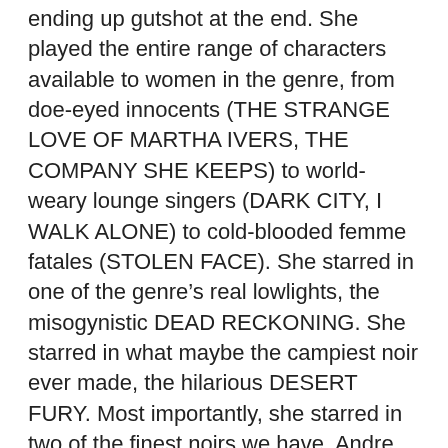ending up gutshot at the end. She played the entire range of characters available to women in the genre, from doe-eyed innocents (THE STRANGE LOVE OF MARTHA IVERS, THE COMPANY SHE KEEPS) to world-weary lounge singers (DARK CITY, I WALK ALONE) to cold-blooded femme fatales (STOLEN FACE). She starred in one of the genre's real lowlights, the misogynistic DEAD RECKONING. She starred in what maybe the campiest noir ever made, the hilarious DESERT FURY. Most importantly, she starred in two of the finest noirs we have, Andre De Toth's 1948 PITFALL and Byron Haskin's 1949 TOO LATE FOR TEARS.
To understand the appeal of Liz Scott, one only need to look at those last two films. In the first, she plays a woman named Mona Stevens who falls into an affair with a married man played by Dick Powell. Their affair is discovered by a psychotic private detective